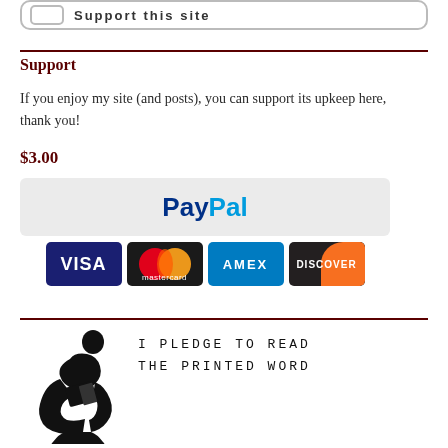[Figure (screenshot): Partial top button/widget element at top of page]
Support
If you enjoy my site (and posts), you can support its upkeep here, thank you!
$3.00
[Figure (logo): PayPal payment button with PayPal logo and credit card icons: VISA, Mastercard, AMEX, DISCOVER]
[Figure (illustration): Silhouette of a person reading with text: I PLEDGE TO READ THE PRINTED WORD]